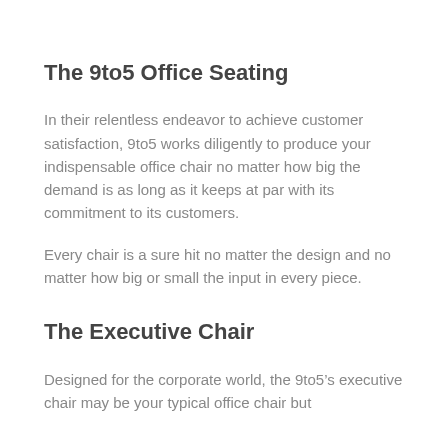The 9to5 Office Seating
In their relentless endeavor to achieve customer satisfaction, 9to5 works diligently to produce your indispensable office chair no matter how big the demand is as long as it keeps at par with its commitment to its customers.
Every chair is a sure hit no matter the design and no matter how big or small the input in every piece.
The Executive Chair
Designed for the corporate world, the 9to5’s executive chair may be your typical office chair but